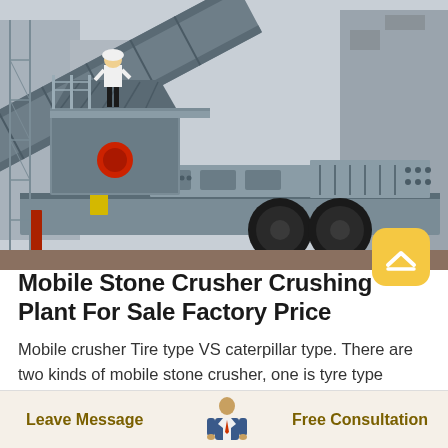[Figure (photo): A large mobile stone crusher / crushing plant on a truck chassis at an industrial facility. A worker in a white hard hat stands on the machine. The machine is gray-blue with yellow structural components. Truck wheels visible underneath.]
Mobile Stone Crusher Crushing Plant For Sale Factory Price
Mobile crusher Tire type VS caterpillar type. There are two kinds of mobile stone crusher, one is tyre type mobile crusher, the other is track type. The design of a mobile crushing plant breaks the obstacle of the crushing field, condition, corollary
Leave Message   Free Consultation